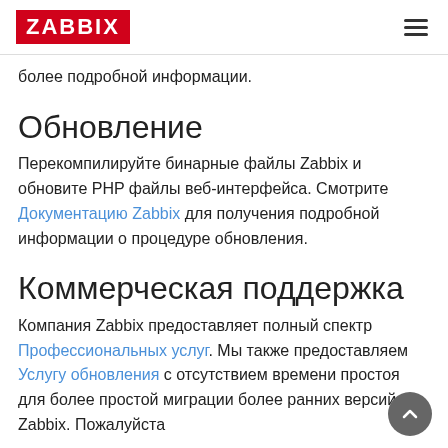ZABBIX
более подробной информации.
Обновление
Перекомпилируйте бинарные файлы Zabbix и обновите PHP файлы веб-интерфейса. Смотрите Документацию Zabbix для получения подробной информации о процедуре обновления.
Коммерческая поддержка
Компания Zabbix предоставляет полный спектр Профессиональных услуг. Мы также предоставляем Услугу обновления с отсутствием времени простоя для более простой миграции более ранних версий Zabbix. Пожалуйста